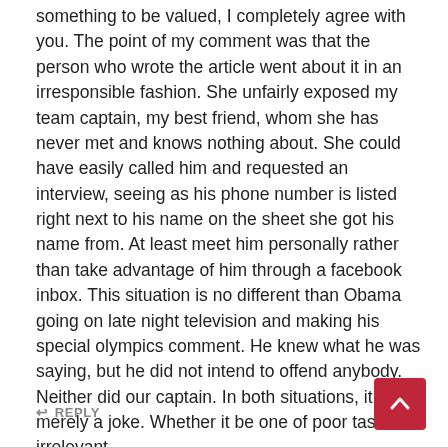something to be valued, I completely agree with you. The point of my comment was that the person who wrote the article went about it in an irresponsible fashion. She unfairly exposed my team captain, my best friend, whom she has never met and knows nothing about. She could have easily called him and requested an interview, seeing as his phone number is listed right next to his name on the sheet she got his name from. At least meet him personally rather than take advantage of him through a facebook inbox. This situation is no different than Obama going on late night television and making his special olympics comment. He knew what he was saying, but he did not intend to offend anybody. Neither did our captain. In both situations, it was merely a joke. Whether it be one of poor taste is irrelevant.
↩ REPLY